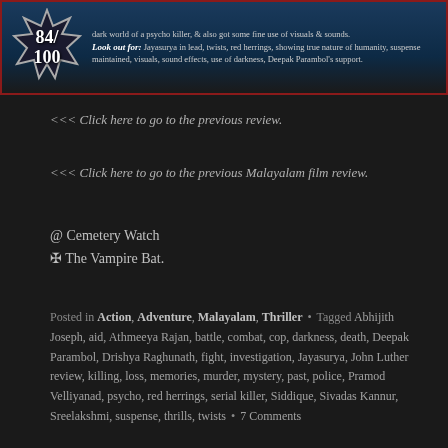[Figure (screenshot): Movie review banner showing score 84/100 in a star badge on blue background with review text. Look out for: Jayasurya in lead, twists, red herrings, showing true nature of humanity, suspense maintained, visuals, sound effects, use of darkness, Deepak Parambol's support.]
<<< Click here to go to the previous review.
<<< Click here to go to the previous Malayalam film review.
@ Cemetery Watch
✠ The Vampire Bat.
Posted in Action, Adventure, Malayalam, Thriller • Tagged Abhijith Joseph, aid, Athmeeya Rajan, battle, combat, cop, darkness, death, Deepak Parambol, Drishya Raghunath, fight, investigation, Jayasurya, John Luther review, killing, loss, memories, murder, mystery, past, police, Pramod Velliyanad, psycho, red herrings, serial killer, Siddique, Sivadas Kannur, Sreelakshmi, suspense, thrills, twists • 7 Comments